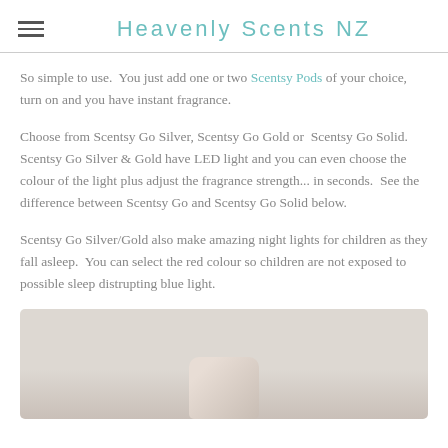Heavenly Scents NZ
So simple to use. You just add one or two Scentsy Pods of your choice, turn on and you have instant fragrance.
Choose from Scentsy Go Silver, Scentsy Go Gold or Scentsy Go Solid. Scentsy Go Silver & Gold have LED light and you can even choose the colour of the light plus adjust the fragrance strength... in seconds. See the difference between Scentsy Go and Scentsy Go Solid below.
Scentsy Go Silver/Gold also make amazing night lights for children as they fall asleep. You can select the red colour so children are not exposed to possible sleep distrupting blue light.
[Figure (photo): Product photo showing Scentsy Go device on a light background]